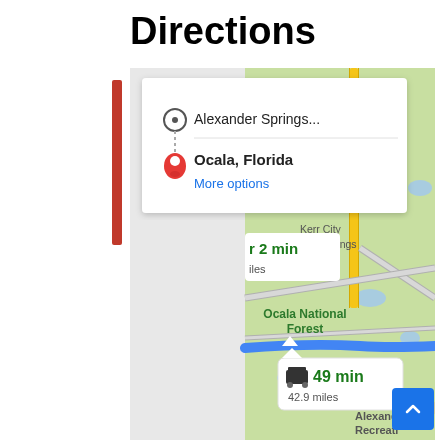Directions
[Figure (screenshot): Google Maps directions screenshot showing route from Alexander Springs to Ocala, Florida with a popup card showing origin (Alexander Springs...) and destination (Ocala, Florida) with a 'More options' link. The map shows Ocala National Forest, Kerr City, Salt Springs, and Welak area. A blue route line is highlighted. A route summary bubble shows '49 min' and '42.9 miles' with a car icon. Another partial bubble shows '1r 2 min' and 'iles'. The bottom right shows 'Alexander Recreati' text.]